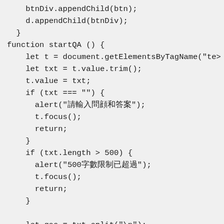btnDiv.appendChild(btn);
    d.appendChild(btnDiv);
  }
function startQA () {
    let t = document.getElementsByTagName("te
    let txt = t.value.trim();
    t.value = txt;
    if (txt === "") {
      alert("請輸入問顔和答案");
      t.focus();
      return;
    }
    if (txt.length > 500) {
      alert("500字數限制已超過");
      t.focus();
      return;
    }

    let qas = txt.split("\n");
    if (qas.length > 10) {
      alert("10顏問顔限制");
      t.focus();